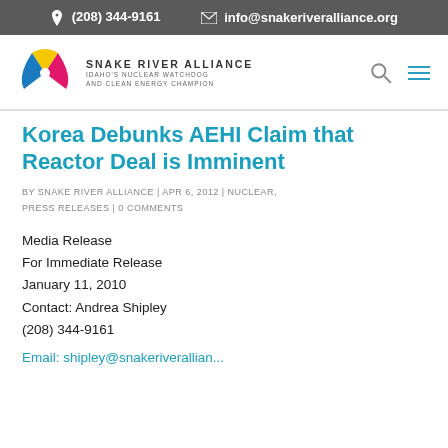(208) 344-9161   info@snakeriveralliance.org
[Figure (logo): Snake River Alliance logo with nuclear symbol in yellow, blue, and pink, and text 'SNAKE RIVER ALLIANCE IDAHO'S NUCLEAR WATCHDOG AND CLEAN ENERGY CHAMPION']
Korea Debunks AEHI Claim that Reactor Deal is Imminent
BY SNAKE RIVER ALLIANCE | APR 6, 2012 | NUCLEAR, PRESS RELEASES | 0 COMMENTS
Media Release
For Immediate Release
January 11, 2010
Contact: Andrea Shipley
(208) 344-9161
Email: shipley@snakeriverallian...